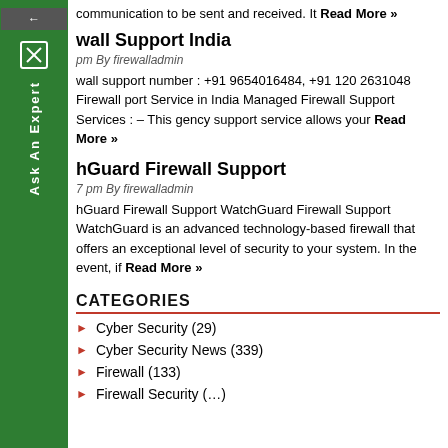communication to be sent and received. It Read More »
wall Support India
pm By firewalladmin
wall support number : +91 9654016484, +91 120 2631048 Firewall port Service in India Managed Firewall Support Services : – This gency support service allows your Read More »
hGuard Firewall Support
7 pm By firewalladmin
hGuard Firewall Support WatchGuard Firewall Support WatchGuard is an advanced technology-based firewall that offers an exceptional level of security to your system. In the event, if Read More »
CATEGORIES
Cyber Security (29)
Cyber Security News (339)
Firewall (133)
Firewall Security (…)